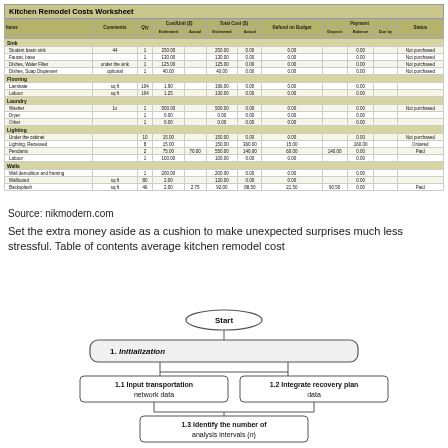Kitchen Remodel Costs Worksheet
| Items | Comments | Qty | Cost/Unit ($) Estimated | Cost/Unit ($) Actual | Total Cost ($) Estimated | Total Cost ($) Actual | Refund on Budget | Payment Deposit | Payment Balance | Payment Due by | Status |
| --- | --- | --- | --- | --- | --- | --- | --- | --- | --- | --- | --- |
| Sink |  |  |  |  |  |  |  |  |  |  |  |
| Student basin sink | 44 | 1 | 250.00 |  | 250.00 | 0.00 | 0.00 |  | 0.00 |  | Not purchased |
| Faucet, base |  | 1 | 130.00 |  | 130.00 | 0.00 | 0.00 |  | 0.00 |  | Not purchased |
| Dishes, Water Filter | under the sink | 1 | 125.00 |  | 125.00 | 0.00 | 0.00 |  | 0.00 |  | Not purchased |
| Dishes, Soap Dispenser | optional | 1 | 40.00 |  | 40.00 | 0.00 | 0.00 |  | 0.00 |  | Not purchased |
| Flooring |  |  |  |  |  |  |  |  |  |  |  |
| Laminate | sq ft | 104 | 1.90 |  | 196.00 | 0.00 | 0.00 |  | 0.00 |  |  |
| Labour | sq ft | 104 | 1.25 |  | 130.00 | 0.00 | 0.00 |  | 0.00 |  |  |
| Laundry |  |  |  |  |  |  |  |  |  |  |  |
| Washer | 1x | 1 | 500.00 |  | 500.00 | 0.00 | 0.00 |  | 0.00 |  | Not purchased |
| Dryer |  | 1 | 0.00 |  | 0.00 | 0.00 | 0.00 |  | 0.00 |  |  |
| Other |  | 1 | 0.00 |  | 0.00 | 0.00 | 0.00 |  | 0.00 |  |  |
| Lighting |  |  |  |  |  |  |  |  |  |  |  |
| Under the cabinet |  | 10 | 15.00 |  | 150.00 | 0.00 | 0.00 |  | 0.00 |  | Not purchased |
| Lighting, Recessed |  | 8 | 15.00 |  | 150.00 | 360.00 | 15.00 |  | 160.00 |  | Ordered |
| Pendants |  | 2 | 75.00 | 70.00 | 550.00 | 140.00 | 60.00 | 140.00 | 0.00 |  | Paid |
| Labour |  | 1 | 100.00 |  | 100.00 | 0.00 | 0.00 |  | 0.00 |  |  |
| Walls |  |  |  |  |  |  |  |  |  |  |  |
| Wall demolition and framing |  | 1 | 200.00 |  | 200.00 | 0.00 | 0.00 |  | 0.00 |  |  |
| Wallboard | sq ft | 80 | 2.00 |  | 120.00 | 0.00 | 0.00 |  | 0.00 |  |  |
| Backsplash | sq ft | 46 | 2.00 | 2.75 | 92.00 | 88.50 | 21.50 | 90.50 | 0.00 |  | Paid |
Source: nikmodern.com
Set the extra money aside as a cushion to make unexpected surprises much less stressful. Table of contents average kitchen remodel cost
[Figure (flowchart): Flowchart showing Start node leading to Initialization section (1.), which contains 1.1 Input transportation network data and 1.2 Integrate recovery plan data, followed by 1.3 Identify the number of analysis intervals (n)]